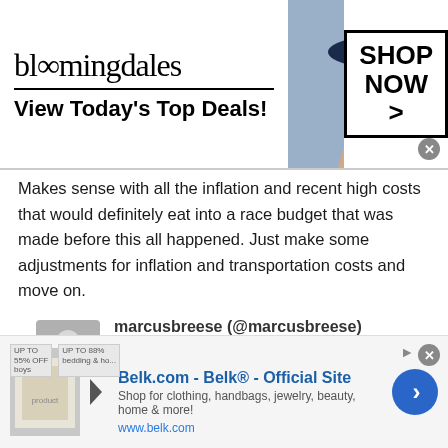[Figure (screenshot): Bloomingdale's advertisement banner with logo, model in hat, and SHOP NOW button]
Makes sense with all the inflation and recent high costs that would definitely eat into a race budget that was made before this all happened. Just make some adjustments for inflation and transportation costs and move on.
marcusbreese (@marcusbreese)
26th May 2022, 11:46
@redpill part of me agrees, however I can also see why Williams, Alfa & Haas are licking their lips at this not happening as the combination of cost cap and inflation is essentially inflation growth, their...
[Figure (screenshot): Belk.com advertisement banner with Belk logo, product thumbnail, and navigation arrow button]